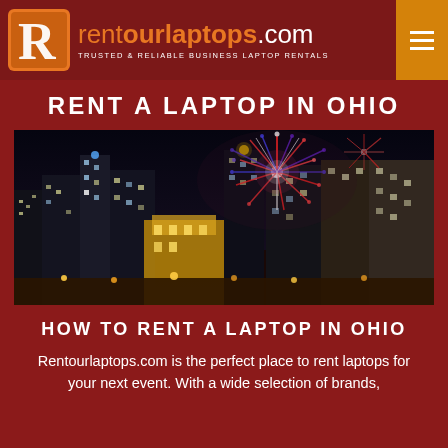rentourlaptops.com — TRUSTED & RELIABLE BUSINESS LAPTOP RENTALS
RENT A LAPTOP IN OHIO
[Figure (photo): Night skyline of Columbus, Ohio with fireworks bursting in red, white and blue above the city buildings]
HOW TO RENT A LAPTOP IN OHIO
Rentourlaptops.com is the perfect place to rent laptops for your next event. With a wide selection of brands,